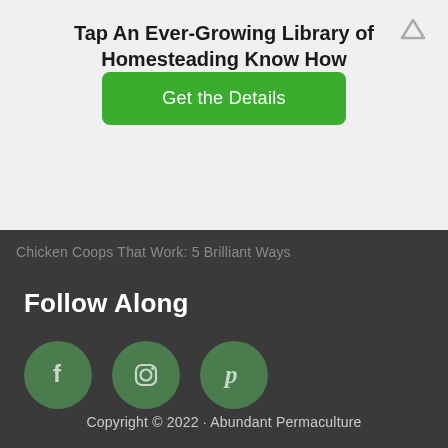Tap An Ever-Growing Library of Homesteading Know How
[Figure (other): Green CTA button labeled 'Get the Details']
Chicken Coops That Work: 5 Brilliant Ways
Follow Along
[Figure (other): Three green circular social media icons: Facebook, Instagram, Pinterest]
Copyright © 2022 · Abundant Permaculture